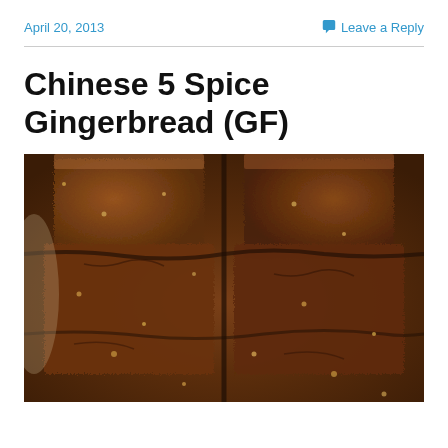April 20, 2013
Leave a Reply
Chinese 5 Spice Gingerbread (GF)
[Figure (photo): Close-up photograph of Chinese 5 Spice Gingerbread cut into squares, showing dark brown textured surface with visible spice pieces, arranged in a pile on a light surface.]